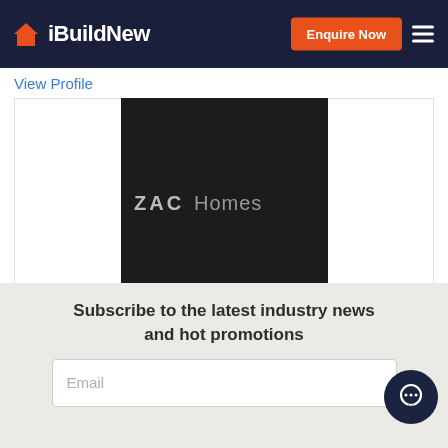iBuildNew — Enquire Now
View Profile
[Figure (logo): ZACHomes logo — white/grey text on black square background]
View Profile
Subscribe to the latest industry news and hot promotions
Email